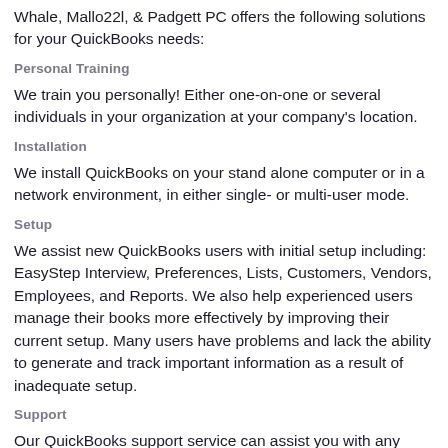Whale, Mallo22l, & Padgett PC offers the following solutions for your QuickBooks needs:
Personal Training
We train you personally! Either one-on-one or several individuals in your organization at your company's location.
Installation
We install QuickBooks on your stand alone computer or in a network environment, in either single- or multi-user mode.
Setup
We assist new QuickBooks users with initial setup including: EasyStep Interview, Preferences, Lists, Customers, Vendors, Employees, and Reports. We also help experienced users manage their books more effectively by improving their current setup. Many users have problems and lack the ability to generate and track important information as a result of inadequate setup.
Support
Our QuickBooks support service can assist you with any installation, setup or operation assistance you might need. In addition, our